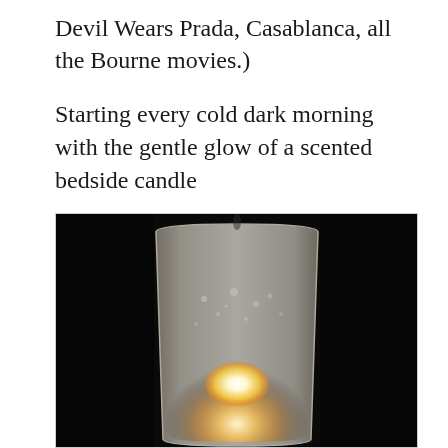Devil Wears Prada, Casablanca, all the Bourne movies.)
Starting every cold dark morning with the gentle glow of a scented bedside candle
[Figure (photo): A glowing scented candle in a frosted glass holder photographed in darkness, with warm amber light emanating from the flame inside the translucent glass vessel.]